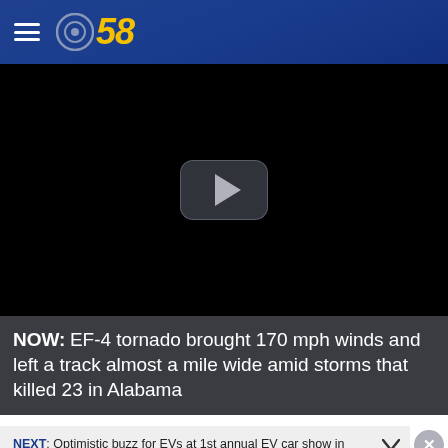CBS 58
[Figure (screenshot): Black video player area with a play button (rounded rectangle with triangle) in the center]
NOW: EF-4 tornado brought 170 mph winds and left a track almost a mile wide amid storms that killed 23 in Alabama
NEXT: Optimistic buzz for EVs at 1st annual EV car show in Wauwatosa
[Figure (infographic): Advertisement banner: Horizon Fitness logo, text 'Try In Store Horizonfitness.com', blue diamond with arrow icon]